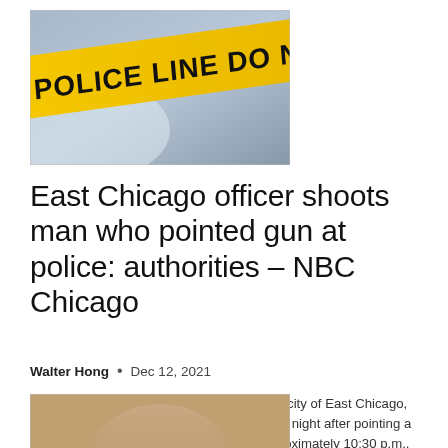[Figure (photo): Yellow police tape reading POLICE LINE DO NOT CROSS against a blurred blue background]
East Chicago officer shoots man who pointed gun at police: authorities – NBC Chicago
Walter Hong • Dec 12, 2021
Law enforcement said a police officer in the city of East Chicago, northwest Indiana, shot a man late Saturday night after pointing a gun at officers who confronted him . At approximately 10:30 p.m., officers from the East...
[Figure (photo): Partial photo at bottom, top of a person's head visible]